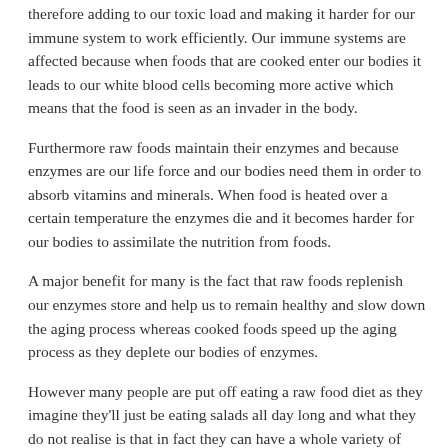therefore adding to our toxic load and making it harder for our immune system to work efficiently. Our immune systems are affected because when foods that are cooked enter our bodies it leads to our white blood cells becoming more active which means that the food is seen as an invader in the body.
Furthermore raw foods maintain their enzymes and because enzymes are our life force and our bodies need them in order to absorb vitamins and minerals. When food is heated over a certain temperature the enzymes die and it becomes harder for our bodies to assimilate the nutrition from foods.
A major benefit for many is the fact that raw foods replenish our enzymes store and help us to remain healthy and slow down the aging process whereas cooked foods speed up the aging process as they deplete our bodies of enzymes.
However many people are put off eating a raw food diet as they imagine they'll just be eating salads all day long and what they do not realise is that in fact they can have a whole variety of grains, nuts, seeds, and a vast array of delicious products.
It is always wise to start with a few simple steps and slowly increase